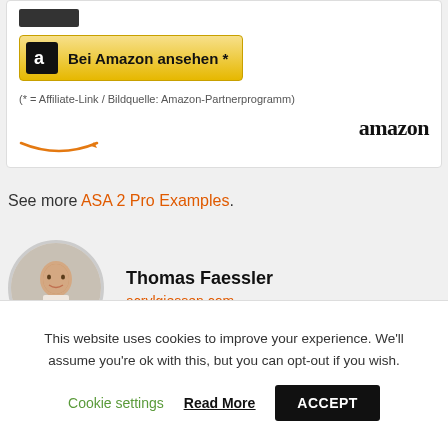[Figure (screenshot): Amazon affiliate product box with 'Bei Amazon ansehen *' button, affiliate note, and Amazon logo]
See more ASA 2 Pro Examples.
Thomas Faessler
acrylgiessen.com
This website uses cookies to improve your experience. We'll assume you're ok with this, but you can opt-out if you wish. Cookie settings  Read More  ACCEPT